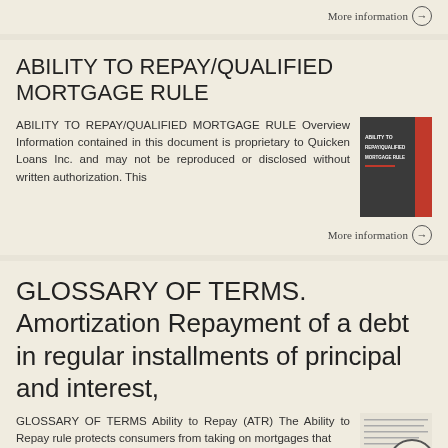More information →
ABILITY TO REPAY/QUALIFIED MORTGAGE RULE
ABILITY TO REPAY/QUALIFIED MORTGAGE RULE Overview Information contained in this document is proprietary to Quicken Loans Inc. and may not be reproduced or disclosed without written authorization. This
[Figure (photo): Book cover with dark gray and red colors showing 'ABILITY TO REPAY/QUALIFIED MORTGAGE RULE']
More information →
GLOSSARY OF TERMS. Amortization Repayment of a debt in regular installments of principal and interest,
GLOSSARY OF TERMS Ability to Repay (ATR) The Ability to Repay rule protects consumers from taking on mortgages that
[Figure (photo): Document thumbnail showing glossary of terms text]
[Figure (other): Back to top circular arrow button]